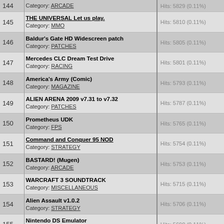| # | Title / Category | Hits |
| --- | --- | --- |
| 144 | Category: ARCADE | Hits: 5829 (0.11%) |
| 145 | THE UNIVERSAL Let us play.
Category: MMO | Hits: 5810 (0.11%) |
| 146 | Baldur's Gate HD Widescreen patch
Category: PATCHES | Hits: 5805 (0.11%) |
| 147 | Mercedes CLC Dream Test Drive
Category: RACING | Hits: 5801 (0.11%) |
| 148 | America's Army (Comic)
Category: MAGAZINE | Hits: 5793 (0.11%) |
| 149 | ALIEN ARENA 2009 v7.31 to v7.32
Category: PATCHES | Hits: 5787 (0.11%) |
| 150 | Prometheus UDK
Category: FPS | Hits: 5765 (0.11%) |
| 151 | Command and Conquer 95 NOD
Category: STRATEGY | Hits: 5754 (0.11%) |
| 152 | BASTARD! (Mugen)
Category: ARCADE | Hits: 5753 (0.11%) |
| 153 | WARCRAFT 3 SOUNDTRACK
Category: MISCELLANEOUS | Hits: 5715 (0.11%) |
| 154 | Alien Assault v1.0.2
Category: STRATEGY | Hits: 5706 (0.11%) |
| 155 | Nintendo DS Emulator
Category: EMULATORI | Hits: 5690 (0.11%) |
| 156 | DWARF FORTRESS DFG3 (Graphic edition)
Category: RPG | Hits: 5685 (0.11%) |
| 157 | City Racer Online (mmo-racing)
Category: RACING | Hits: 5667 (0.11%) |
| 158 | BMW M3 Challenge
Category: RACING | Hits: 5658 (0.11%) |